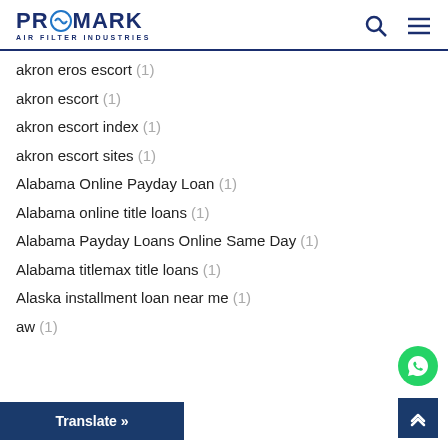PROMARK AIR FILTER INDUSTRIES
akron eros escort (1)
akron escort (1)
akron escort index (1)
akron escort sites (1)
Alabama Online Payday Loan (1)
Alabama online title loans (1)
Alabama Payday Loans Online Same Day (1)
Alabama titlemax title loans (1)
Alaska installment loan near me (1)
a...w (1)